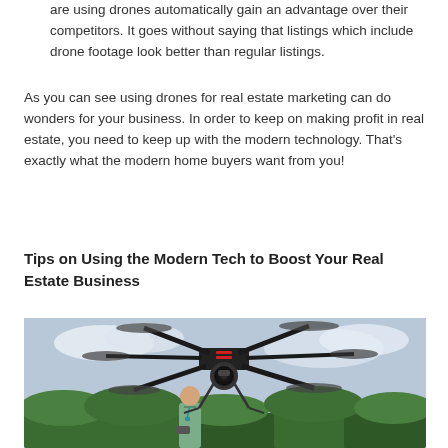are using drones automatically gain an advantage over their competitors. It goes without saying that listings which include drone footage look better than regular listings.
As you can see using drones for real estate marketing can do wonders for your business. In order to keep on making profit in real estate, you need to keep up with the modern technology. That's exactly what the modern home buyers want from you!
Tips on Using the Modern Tech to Boost Your Real Estate Business
[Figure (photo): A large multi-rotor drone with a camera gimbal flying in the air, with a man standing in the background holding a remote controller, trees and sky visible.]